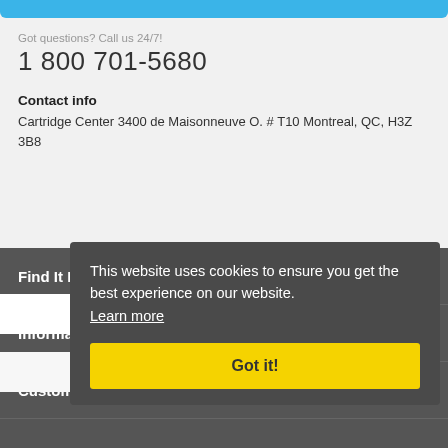Got questions? Call us 24/7!
1 800 701-5680
Contact info
Cartridge Center 3400 de Maisonneuve O. # T10 Montreal, QC, H3Z 3B8
Find It Fast
Information
Customer Care
This website uses cookies to ensure you get the best experience on our website. Learn more
Got it!